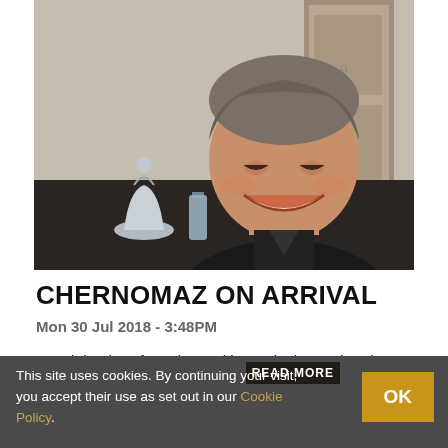[Figure (photo): A smiling middle-aged man with grey-brown hair wearing a black polo shirt, looking down and smiling. A silver trophy or figurine is visible in the foreground.]
CHERNOMAZ ON ARRIVAL
Mon 30 Jul 2018 - 3:48PM
Coach lands safe and sound in Nottingham. Already working on the first games.
This site uses cookies. By continuing your visit, you accept their use as set out in our Cookie Policy.